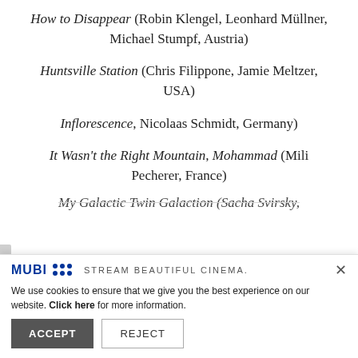How to Disappear (Robin Klengel, Leonhard Müllner, Michael Stumpf, Austria)
Huntsville Station (Chris Filippone, Jamie Meltzer, USA)
Inflorescence, Nicolaas Schmidt, Germany)
It Wasn't the Right Mountain, Mohammad (Mili Pecherer, France)
My Galactic Twin Galaction (Sacha Svirsky, ...
MUBI STREAM BEAUTIFUL CINEMA. ×
We use cookies to ensure that we give you the best experience on our website. Click here for more information.
ACCEPT   REJECT